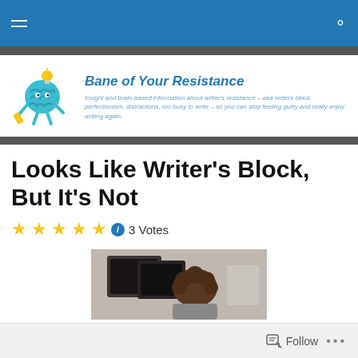Navigation bar with hamburger menu and search icon
[Figure (logo): Cartoon brain character holding a pencil with a lightbulb, site logo for Bane of Your Resistance]
Bane of Your Resistance
Insight and brain-based information about writer's resistance – aka writers block, perfectionism, distractions, too busy to write – so you can stop feeling guilty and really enjoy writing again.
Looks Like Writer's Block, But It's Not
3 Votes
[Figure (photo): Person with curly hair sitting in front of a computer monitor, viewed from behind]
Follow ...